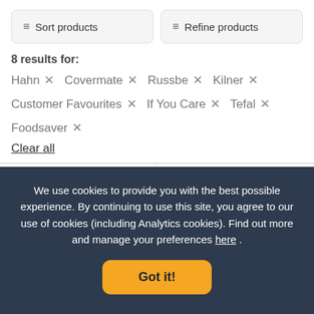Sort products
Refine products
8 results for:
Hahn ×  Covermate ×  Russbe ×  Kilner ×  Customer Favourites ×  If You Care ×  Tefal ×  Foodsaver ×
Clear all
Tefal Cheese Preserver
2 Kilner Glass Snack and
We use cookies to provide you with the best possible experience. By continuing to use this site, you agree to our use of cookies (including Analytics cookies). Find out more and manage your preferences here .
Got it!